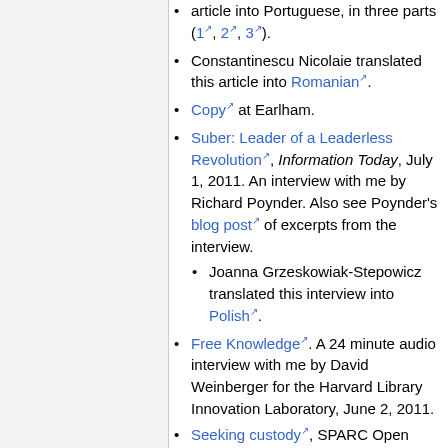article into Portuguese, in three parts (1, 2, 3).
Constantinescu Nicolaie translated this article into Romanian.
Copy at Earlham.
Suber: Leader of a Leaderless Revolution, Information Today, July 1, 2011. An interview with me by Richard Poynder. Also see Poynder's blog post of excerpts from the interview.
Joanna Grzeskowiak-Stepowicz translated this interview into Polish.
Free Knowledge. A 24 minute audio interview with me by David Weinberger for the Harvard Library Innovation Laboratory, June 2, 2011.
Seeking custody, SPARC Open